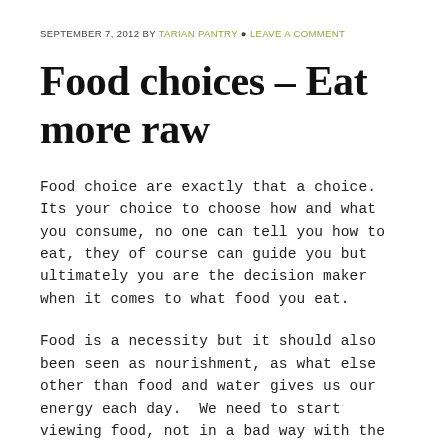SEPTEMBER 7, 2012 BY TARIAN PANTRY • LEAVE A COMMENT
Food choices – Eat more raw
Food choice are exactly that a choice.  Its your choice to choose how and what you consume, no one can tell you how to eat, they of course can guide you but ultimately you are the decision maker when it comes to what food you eat.
Food is a necessity but it should also been seen as nourishment, as what else other than food and water gives us our energy each day.  We need to start viewing food, not in a bad way with the